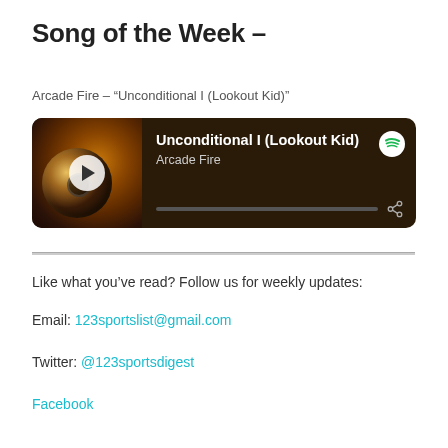Song of the Week –
Arcade Fire – “Unconditional I (Lookout Kid)”
[Figure (other): Spotify music player embed showing 'Unconditional I (Lookout Kid)' by Arcade Fire with album art (close-up eye image with brown tones), play button, progress bar, Spotify logo, and share icon on a dark brown background]
Like what you’ve read? Follow us for weekly updates:
Email: 123sportslist@gmail.com
Twitter: @123sportsdigest
Facebook